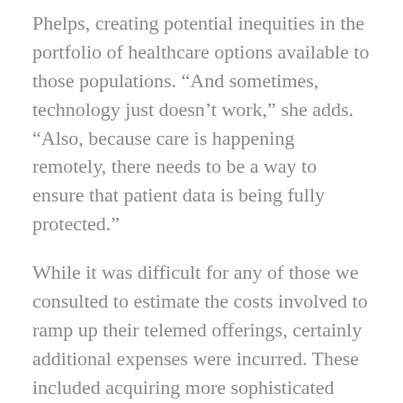Phelps, creating potential inequities in the portfolio of healthcare options available to those populations. “And sometimes, technology just doesn’t work,” she adds. “Also, because care is happening remotely, there needs to be a way to ensure that patient data is being fully protected.”
While it was difficult for any of those we consulted to estimate the costs involved to ramp up their telemed offerings, certainly additional expenses were incurred. These included acquiring more sophisticated equipment, such as high-definition cameras, more tablets and specific telemed carts for provider use, training, and, of course, improving WiFi and broadband systems.